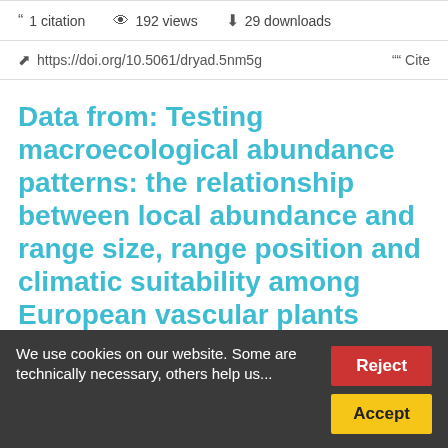1 citation   192 views   29 downloads
https://doi.org/10.5061/dryad.5nm5g   Cite
Data from: Testing macroecological abundance patterns: the relationship between local abundance and range size, range position and climatic suitability among European vascular plants
Maria Sporbert, Petr Keil, Gunnar Seidler, Helge...
We use cookies on our website. Some are technically necessary, others help us...